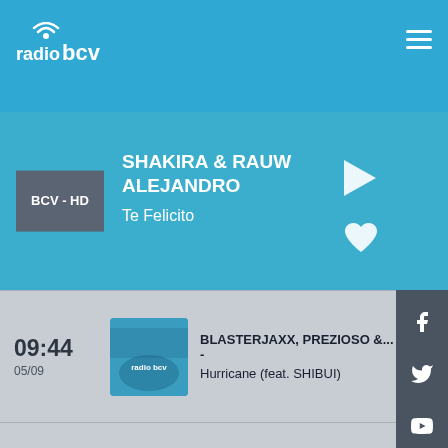[Figure (logo): Radio BCV logo in white on blue header]
SHAKIRA & RAUW ALEJANDRO
Te Felicito
BCV - HD
09:44  05/09  BLASTERJAXX, PREZIOSO &... - Hurricane (feat. SHIBUI)
09:43  05/09  BCV - ELECTRO & URBAN MUSIC A...
09:41  05/09  SOOLKING & SCH - Maryline